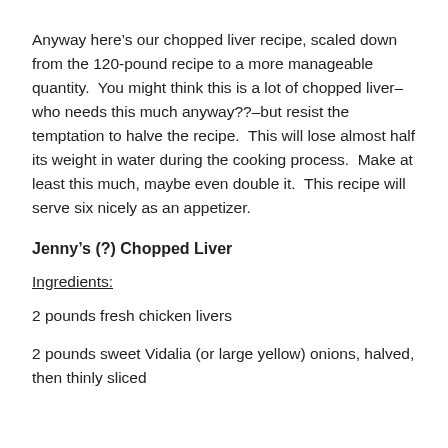Anyway here’s our chopped liver recipe, scaled down from the 120-pound recipe to a more manageable quantity. You might think this is a lot of chopped liver–who needs this much anyway??–but resist the temptation to halve the recipe. This will lose almost half its weight in water during the cooking process. Make at least this much, maybe even double it. This recipe will serve six nicely as an appetizer.
Jenny’s (?) Chopped Liver
Ingredients:
2 pounds fresh chicken livers
2 pounds sweet Vidalia (or large yellow) onions, halved, then thinly sliced